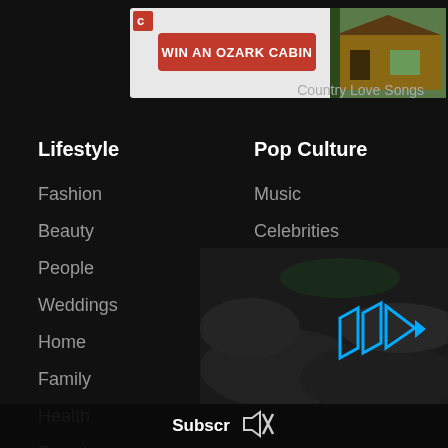[Figure (screenshot): Advertisement banner: red button with text WIN AN OZARK CABIN, with a log cabin image on the right side]
Country Love Songs
Lifestyle
Pop Culture
Fashion
Beauty
People
Weddings
Home
Family
Health
Travel
Music
Celebrities
Quizzes
Netflix
Movies
[Figure (screenshot): Video player UI with blue fast-forward/play arrows overlay on a dark concert crowd background]
Subscr